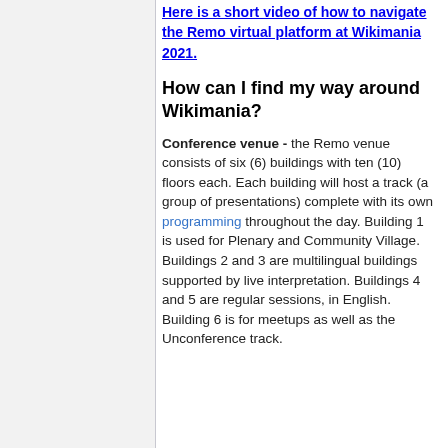Here is a short video of how to navigate the Remo virtual platform at Wikimania 2021.
How can I find my way around Wikimania?
Conference venue - the Remo venue consists of six (6) buildings with ten (10) floors each. Each building will host a track (a group of presentations) complete with its own programming throughout the day. Building 1 is used for Plenary and Community Village. Buildings 2 and 3 are multilingual buildings supported by live interpretation. Buildings 4 and 5 are regular sessions, in English. Building 6 is for meetups as well as the Unconference track.